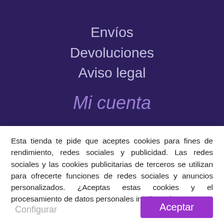Envíos
Devoluciones
Aviso legal
Mi cuenta
Esta tienda te pide que aceptes cookies para fines de rendimiento, redes sociales y publicidad. Las redes sociales y las cookies publicitarias de terceros se utilizan para ofrecerte funciones de redes sociales y anuncios personalizados. ¿Aceptas estas cookies y el procesamiento de datos personales involucrados?
Configurar
Aceptar